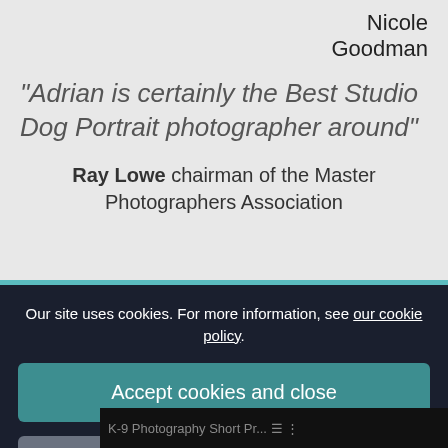Nicole Goodman
"Adrian is certainly the Best Studio Dog Portrait photographer around"
Ray Lowe chairman of the Master Photographers Association
Our site uses cookies. For more information, see our cookie policy.
Accept cookies and close
Reject cookies
Manage settings
K-9 Photography Short Pr...